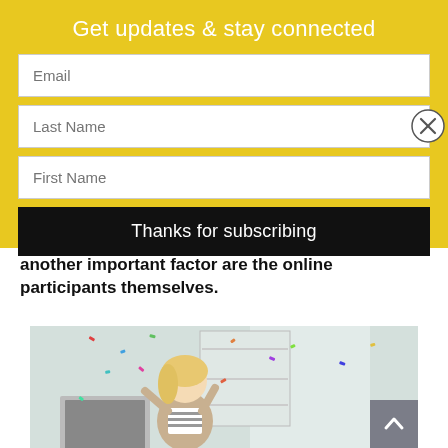Get updates & stay connected
Email
Last Name
First Name
Thanks for subscribing
another important factor are the online participants themselves.
[Figure (photo): Woman with blonde hair celebrating with confetti falling in a bright office, computer monitor visible in foreground, shelving unit in background]